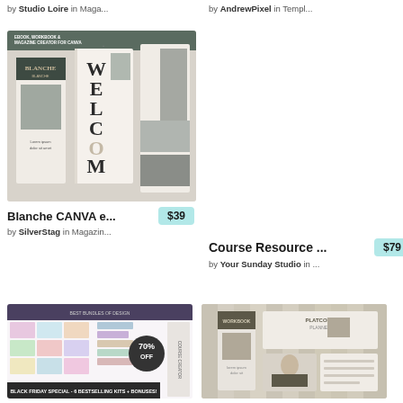by Studio Loire in Maga...
by AndrewPixel in Templ...
[Figure (illustration): Blanche CANVA ebook workbook magazine creator product mockup showing book covers and open pages]
Blanche CANVA e...  $39
by SilverStag in Magazin...
Course Resource ...  $79
by Your Sunday Studio in ...
[Figure (illustration): Black Friday Special - 6 bestselling kits with bonuses, colorful design assets collection with 70% off badge]
[Figure (illustration): Platcoms workbook and template product mockup in neutral tones]